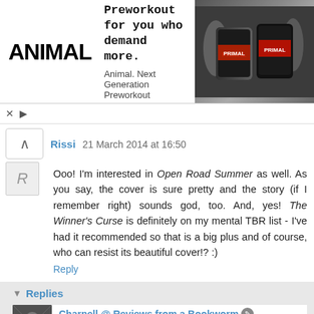[Figure (other): Animal brand advertisement banner showing ANIMAL logo, 'Preworkout for you who demand more. Animal. Next Generation Preworkout' text, and product image of PRIMAL supplement tubs on dark gym background]
Rissi 21 March 2014 at 16:50
Ooo! I'm interested in Open Road Summer as well. As you say, the cover is sure pretty and the story (if I remember right) sounds god, too. And, yes! The Winner's Curse is definitely on my mental TBR list - I've had it recommended so that is a big plus and of course, who can resist its beautiful cover!? :)
Reply
Replies
Charnell @ Reviews from a Bookworm 23 March 2014 at 19:36
That cover is gorgeous, I am even going to get the hardback because of that beautiful cover!